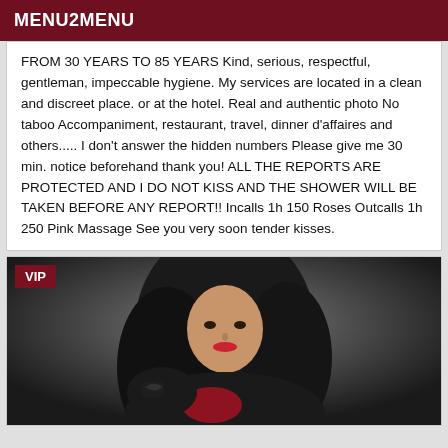MENU2MENU
FROM 30 YEARS TO 85 YEARS Kind, serious, respectful, gentleman, impeccable hygiene. My services are located in a clean and discreet place. or at the hotel. Real and authentic photo No taboo Accompaniment, restaurant, travel, dinner d'affaires and others..... I don't answer the hidden numbers Please give me 30 min. notice beforehand thank you! ALL THE REPORTS ARE PROTECTED AND I DO NOT KISS AND THE SHOWER WILL BE TAKEN BEFORE ANY REPORT!! Incalls 1h 150 Roses Outcalls 1h 250 Pink Massage See you very soon tender kisses.
[Figure (photo): Woman with long dark hair wearing black outfit, posing in front of an ornate silver chair. VIP badge in top left corner.]